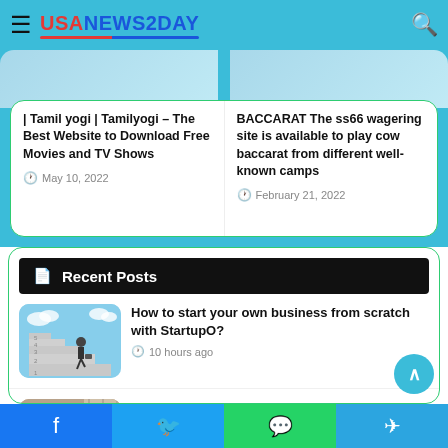USANEWS2DAY
| Tamil yogi | Tamilyogi – The Best Website to Download Free Movies and TV Shows
May 10, 2022
BACCARAT The ss66 wagering site is available to play cow baccarat from different well-known camps
February 21, 2022
Recent Posts
[Figure (photo): Person climbing stairs with briefcase, business concept]
How to start your own business from scratch with StartupO?
10 hours ago
[Figure (photo): House renovation/extension photo]
Home Renovations and Extensions: How to Choose the Right Contractor